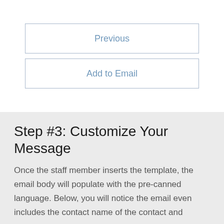[Figure (screenshot): Two UI buttons: 'Previous' and 'Add to Email', both with light blue text and light blue border on white background]
Step #3: Customize Your Message
Once the staff member inserts the template, the email body will populate with the pre-canned language. Below, you will notice the email even includes the contact name of the contact and